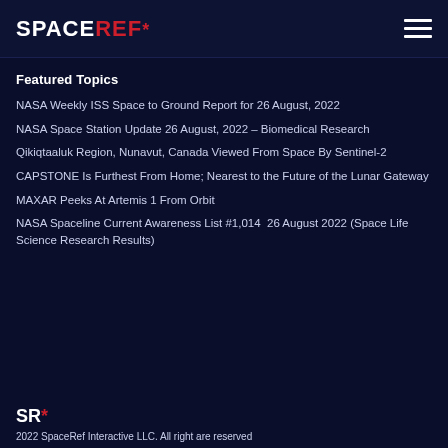SPACEREF*
Featured Topics
NASA Weekly ISS Space to Ground Report for 26 August, 2022
NASA Space Station Update 26 August, 2022 – Biomedical Research
Qikiqtaaluk Region, Nunavut, Canada Viewed From Space By Sentinel-2
CAPSTONE Is Furthest From Home; Nearest to the Future of the Lunar Gateway
MAXAR Peeks At Artemis 1 From Orbit
NASA Spaceline Current Awareness List #1,014  26 August 2022 (Space Life Science Research Results)
SR* 2022 SpaceRef Interactive LLC. All right are reserved